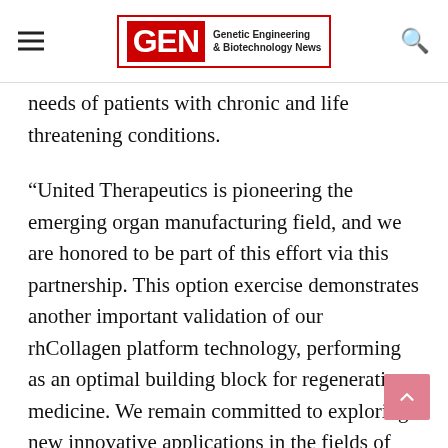GEN Genetic Engineering & Biotechnology News
needs of patients with chronic and life threatening conditions.
“United Therapeutics is pioneering the emerging organ manufacturing field, and we are honored to be part of this effort via this partnership. This option exercise demonstrates another important validation of our rhCollagen platform technology, performing as an optimal building block for regenerative medicine. We remain committed to exploring new innovative applications in the fields of medical aesthetics and 3D bioprinting of tissues and organs,” concluded Tal.
Martine Rothblatt, PhD, chairman and CEO of United